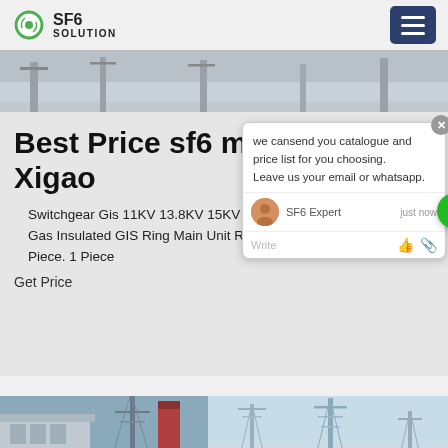SF6 SOLUTION
[Figure (photo): Outdoor electrical substation or switchgear installation, partial view showing grey concrete/equipment structures against sky]
Best Price sf6 mix Xi an Xigao
Switchgear Gis 11KV 13.8KV 15KV 33KV 35KV 36KV SF6 Gas Insulated GIS Ring Main Unit RMU Panel. US ... 0/ Piece. 1 Piece
Get Price
[Figure (screenshot): Chat popup widget with message: we cansend you catalogue and price list for you choosing. Leave us your email or whatsapp. SF6 Expert agent shown with 'just now' timestamp and Write input area.]
[Figure (photo): Bottom strip showing industrial/electrical tower structures against sky, two separate photo sections]